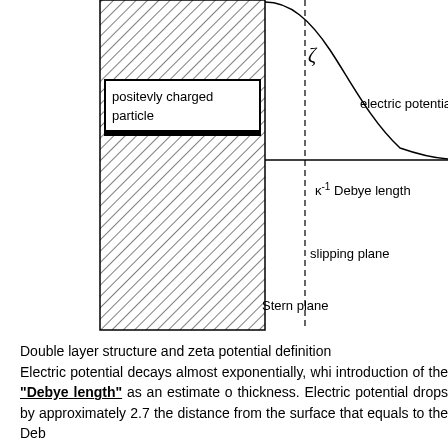[Figure (engineering-diagram): Double layer structure diagram showing a positively charged particle (hatched rectangle) with labeled Stern plane, slipping plane, zeta potential (zeta symbol), Debye length (kappa^-1), and electric potential curve decaying from the particle surface.]
Double layer structure and zeta potential definition
Electric potential decays almost exponentially, whi introduction of the "Debye length" as an estimate o thickness. Electric potential drops by approximately 2.7 the distance from the surface that equals to the Deb